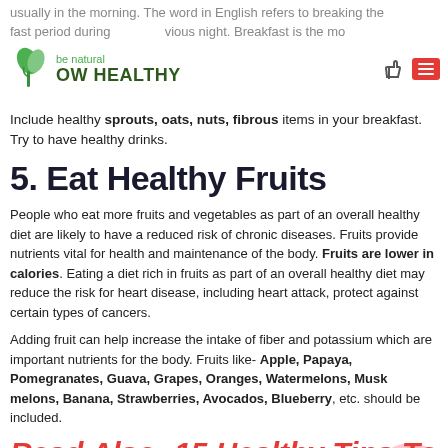Now Healthy – be natural
usually in the morning. The word in English refers to breaking the fast period during previous night. Breakfast is the most important meal of the day. It provides energy throughout the day. Breakfast should be healthy and should not be heavy. Include healthy sprouts, oats, nuts, fibrous items in your breakfast. Try to have healthy drinks.
5. Eat Healthy Fruits
People who eat more fruits and vegetables as part of an overall healthy diet are likely to have a reduced risk of chronic diseases. Fruits provide nutrients vital for health and maintenance of the body. Fruits are lower in calories. Eating a diet rich in fruits as part of an overall healthy diet may reduce the risk for heart disease, including heart attack, protect against certain types of cancers.
Adding fruit can help increase the intake of fiber and potassium which are important nutrients for the body. Fruits like- Apple, Papaya, Pomegranates, Guava, Grapes, Oranges, Watermelons, Musk melons, Banana, Strawberries, Avocados, Blueberry, etc. should be included.
Read Also: 15 Healthy Tips To Improve Your Health